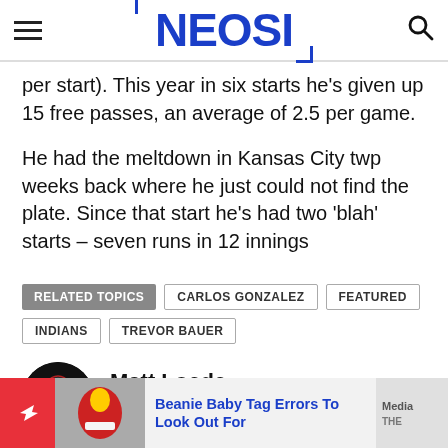NEOSI
per start). This year in six starts he's given up 15 free passes, an average of 2.5 per game.
He had the meltdown in Kansas City twp weeks back where he just could not find the plate. Since that start he's had two 'blah' starts – seven runs in 12 innings
RELATED TOPICS  CARLOS GONZALEZ  FEATURED  INDIANS  TREVOR BAUER
Matt Loede
Beanie Baby Tag Errors To Look Out For